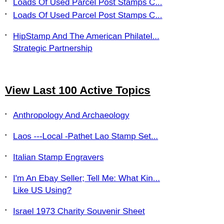Loads Of Used Parcel Post Stamps C...
HipStamp And The American Philatel... Strategic Partnership
View Last 100 Active Topics
Anthropology And Archaeology
Laos ---Local -Pathet Lao Stamp Set...
Italian Stamp Engravers
I'm An Ebay Seller; Tell Me: What Kin... Like US Using?
Israel 1973 Charity Souvenir Sheet
1857 One Cent Scott #22 Vs #24
HipStamp And The American Philatel... Strategic Partnership
German Democratic Republic (East G...
Learning Ebay Due To Country Restr...
Ebay Clickbait ? False Pricing.